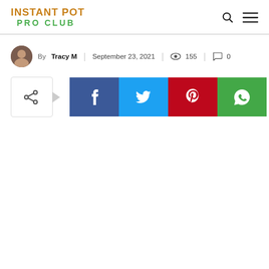INSTANT POT PRO CLUB
By Tracy M | September 23, 2021 | 155 | 0
[Figure (infographic): Social share bar with toggle button, Facebook, Twitter, Pinterest, and WhatsApp share buttons]